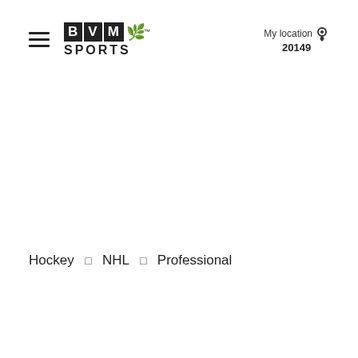BVM SPORTS | My location 20149
Hockey □ NHL □ Professional